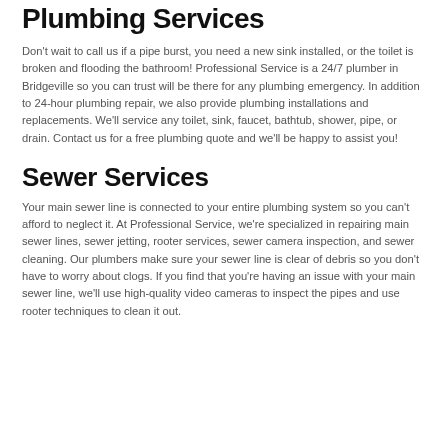Plumbing Services
Don't wait to call us if a pipe burst, you need a new sink installed, or the toilet is broken and flooding the bathroom! Professional Service is a 24/7 plumber in Bridgeville so you can trust will be there for any plumbing emergency. In addition to 24-hour plumbing repair, we also provide plumbing installations and replacements. We'll service any toilet, sink, faucet, bathtub, shower, pipe, or drain. Contact us for a free plumbing quote and we'll be happy to assist you!
Sewer Services
Your main sewer line is connected to your entire plumbing system so you can't afford to neglect it. At Professional Service, we're specialized in repairing main sewer lines, sewer jetting, rooter services, sewer camera inspection, and sewer cleaning. Our plumbers make sure your sewer line is clear of debris so you don't have to worry about clogs. If you find that you're having an issue with your main sewer line, we'll use high-quality video cameras to inspect the pipes and use rooter techniques to clean it out.